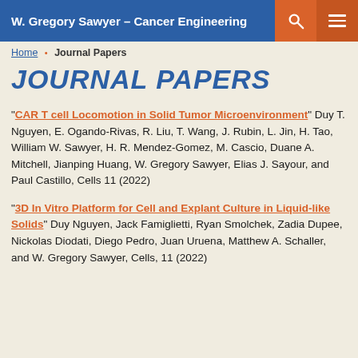W. Gregory Sawyer – Cancer Engineering
Home • Journal Papers
JOURNAL PAPERS
"CAR T cell Locomotion in Solid Tumor Microenvironment" Duy T. Nguyen, E. Ogando-Rivas, R. Liu, T. Wang, J. Rubin, L. Jin, H. Tao, William W. Sawyer, H. R. Mendez-Gomez, M. Cascio, Duane A. Mitchell, Jianping Huang, W. Gregory Sawyer, Elias J. Sayour, and Paul Castillo, Cells 11 (2022)
"3D In Vitro Platform for Cell and Explant Culture in Liquid-like Solids" Duy Nguyen, Jack Famiglietti, Ryan Smolchek, Zadia Dupee, Nickolas Diodati, Diego Pedro, Juan Uruena, Matthew A. Schaller, and W. Gregory Sawyer, Cells, 11 (2022)